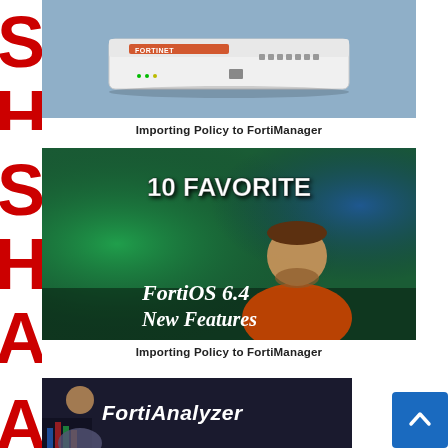[Figure (screenshot): Vertical red SHARE text on left side, top portion showing 'SH']
[Figure (photo): Fortinet network device (white hardware appliance) on blue/grey background - thumbnail image]
Importing Policy to FortiManager
[Figure (screenshot): Vertical red SHARE text on left side]
[Figure (screenshot): Video thumbnail with green/dark background, man in orange shirt, text: '10 FAVORITE FortiOS 6.4 New Features']
Importing Policy to FortiManager
[Figure (screenshot): Vertical red RE text (partial SHARE) on left side bottom]
[Figure (screenshot): Video thumbnail with dark background, text: 'FortiAnalyzer' in white italic bold font, partial image of person and analytics screens]